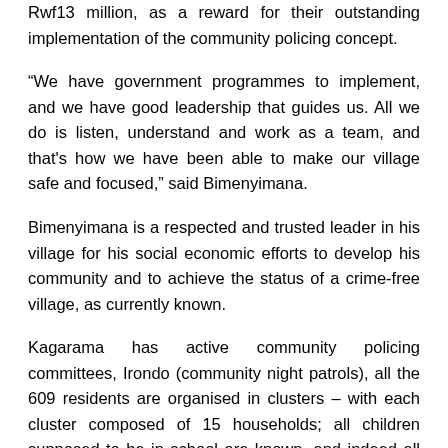Rwf13 million, as a reward for their outstanding implementation of the community policing concept.
“We have government programmes to implement, and we have good leadership that guides us. All we do is listen, understand and work as a team, and that’s how we have been able to make our village safe and focused,” said Bimenyimana.
Bimenyimana is a respected and trusted leader in his village for his social economic efforts to develop his community and to achieve the status of a crime-free village, as currently known.
Kagarama has active community policing committees, Irondo (community night patrols), all the 609 residents are organised in clusters – with each cluster composed of 15 households; all children supposed to be in school are known, and indeed all in school; 100% covered with medical insurance; all households are organised in cooperatives and meet at least twice weekly...